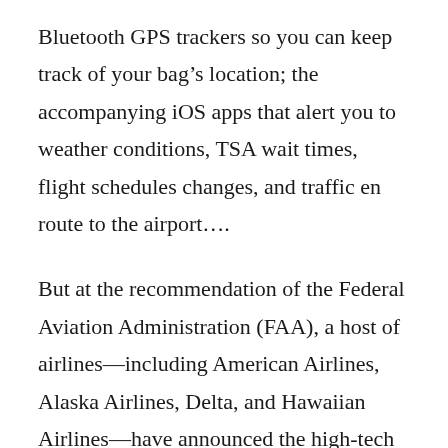Bluetooth GPS trackers so you can keep track of your bag's location; the accompanying iOS apps that alert you to weather conditions, TSA wait times, flight schedules changes, and traffic en route to the airport….
But at the recommendation of the Federal Aviation Administration (FAA), a host of airlines—including American Airlines, Alaska Airlines, Delta, and Hawaiian Airlines—have announced the high-tech luggage won't be allowed on flights due to safety concerns. According to the FAA, the rechargeable lithium-ion batteries used in the luggage pose a fire threat in cargo areas. If you're scratching your head for examples of what else uses a lithium-ion battery, that'd